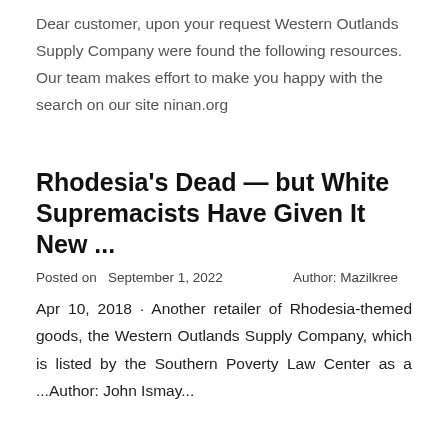Dear customer, upon your request Western Outlands Supply Company were found the following resources. Our team makes effort to make you happy with the search on our site ninan.org
Rhodesia's Dead — but White Supremacists Have Given It New ...
Posted on  September 1, 2022     Author: Mazilkree
Apr 10, 2018 · Another retailer of Rhodesia-themed goods, the Western Outlands Supply Company, which is listed by the Southern Poverty Law Center as a ...Author: John Ismay...